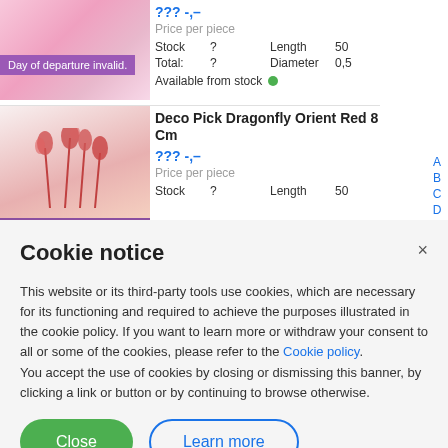[Figure (photo): Pink flowers product image with purple 'Day of departure invalid.' badge overlay]
??? -,–
Price per piece
Stock ? Length 50
Total: ? Diameter 0,5
Available from stock
[Figure (photo): Red/pink plant stems product image]
Deco Pick Dragonfly Orient Red 8 Cm
??? -,–
Price per piece
Stock ? Length 50
Cookie notice
This website or its third-party tools use cookies, which are necessary for its functioning and required to achieve the purposes illustrated in the cookie policy. If you want to learn more or withdraw your consent to all or some of the cookies, please refer to the Cookie policy.
You accept the use of cookies by closing or dismissing this banner, by clicking a link or button or by continuing to browse otherwise.
Close
Learn more